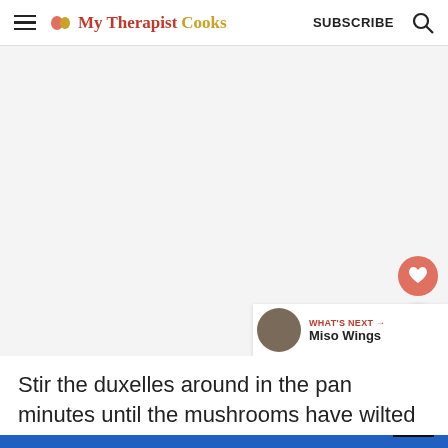My Therapist Cooks | SUBSCRIBE
[Figure (photo): Light gray placeholder image area for a food/recipe photo on the My Therapist Cooks blog]
Stir the duxelles around in the pan minutes until the mushrooms have wilted
"Let’s hang out and talk!"